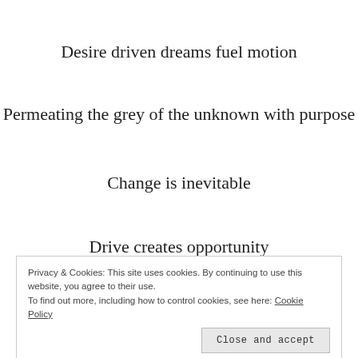Desire driven dreams fuel motion
Permeating the grey of the unknown with purpose
Change is inevitable
Drive creates opportunity
Dreaming of the new
Privacy & Cookies: This site uses cookies. By continuing to use this website, you agree to their use.
To find out more, including how to control cookies, see here: Cookie Policy
Close and accept